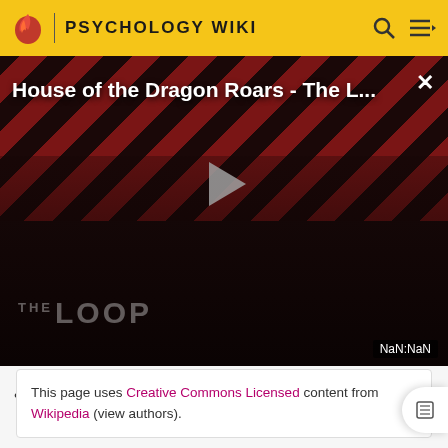PSYCHOLOGY WIKI
[Figure (screenshot): Video player overlay showing 'House of the Dragon Roars - The L...' with diagonal red and black stripes background, silhouettes of people, a play button, THE LOOP logo text, and NaN:NaN timestamp display]
...p ... g p
List of stats packages
This page uses Creative Commons Licensed content from Wikipedia (view authors).